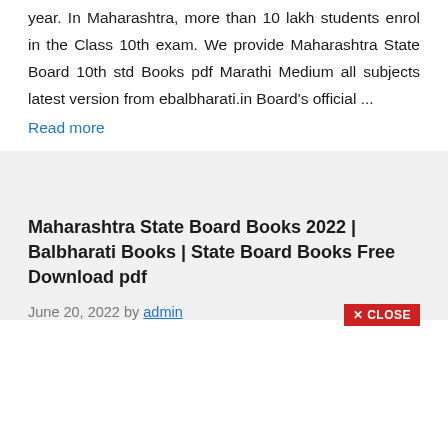year. In Maharashtra, more than 10 lakh students enrol in the Class 10th exam. We provide Maharashtra State Board 10th std Books pdf Marathi Medium all subjects latest version from ebalbharati.in Board's official ...
Read more
Maharashtra State Board Books 2022 | Balbharati Books | State Board Books Free Download pdf
June 20, 2022 by admin